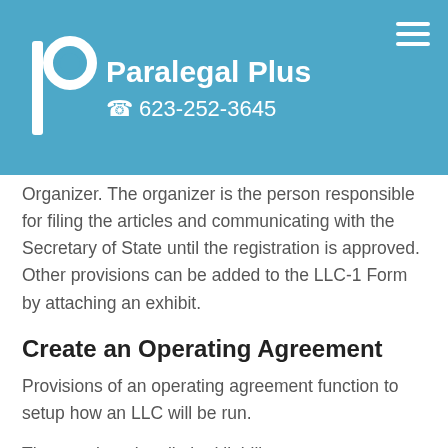Paralegal Plus  623-252-3645
Organizer. The organizer is the person responsible for filing the articles and communicating with the Secretary of State until the registration is approved. Other provisions can be added to the LLC-1 Form by attaching an exhibit.
Create an Operating Agreement
Provisions of an operating agreement function to setup how an LLC will be run.
The members in a limited liability company customarily enter into an operating agreement at the time the articles of